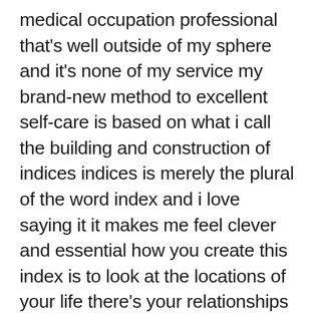medical occupation professional that's well outside of my sphere and it's none of my service my brand-new method to excellent self-care is based on what i call the building and construction of indices indices is merely the plural of the word index and i love saying it it makes me feel clever and essential how you create this index is to look at the locations of your life there's your relationships there's your work there's your solitary time your leisure your health your diet take a look at these classifications don't attempt to be entirely extensive just take a look at the main ones and offer yourself a little rating from naught to 10 on how you believe you're carrying out because location like if you don't do any exercise that's a.